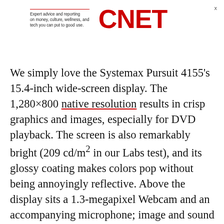[Figure (logo): CNET logo with tagline 'Expert advice and reporting on money, culture, wellness, and tech you can put to good use.' Red CNET text logo on right.]
We simply love the Systemax Pursuit 4155's 15.4-inch wide-screen display. The 1,280×800 native resolution results in crisp graphics and images, especially for DVD playback. The screen is also remarkably bright (209 cd/m² in our Labs test), and its glossy coating makes colors pop without being annoyingly reflective. Above the display sits a 1.3-megapixel Webcam and an accompanying microphone; image and sound quality weren't tops, but we thought them sufficient for video chats and Web conferencing. We particularly like the handy cover that slides over the